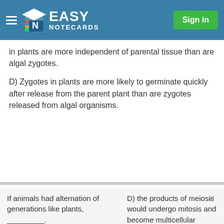Easy Notecards — Sign in
in plants are more independent of parental tissue than are algal zygotes.
D) Zygotes in plants are more likely to germinate quickly after release from the parent plant than are zygotes released from algal organisms.
If animals had alternation of generations like plants, _________.
A) they would have twice as rapid a population growth rate as compared
D) the products of meiosis would undergo mitosis and become multicellular